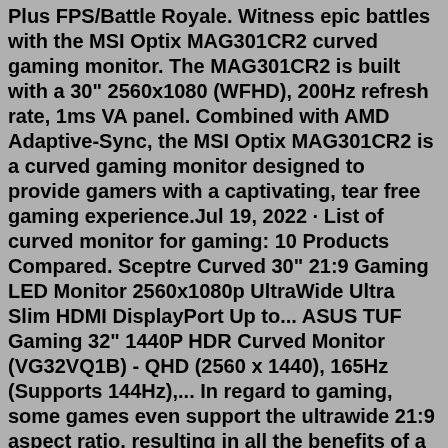Plus FPS/Battle Royale. Witness epic battles with the MSI Optix MAG301CR2 curved gaming monitor. The MAG301CR2 is built with a 30" 2560x1080 (WFHD), 200Hz refresh rate, 1ms VA panel. Combined with AMD Adaptive-Sync, the MSI Optix MAG301CR2 is a curved gaming monitor designed to provide gamers with a captivating, tear free gaming experience.Jul 19, 2022 · List of curved monitor for gaming: 10 Products Compared. Sceptre Curved 30" 21:9 Gaming LED Monitor 2560x1080p UltraWide Ultra Slim HDMI DisplayPort Up to... ASUS TUF Gaming 32" 1440P HDR Curved Monitor (VG32VQ1B) - QHD (2560 x 1440), 165Hz (Supports 144Hz),... In regard to gaming, some games even support the ultrawide 21:9 aspect ratio, resulting in all the benefits of a curved monitor for gaming plus an extended field of view in-game! For more on the benefits of an ultrawide monitor, check out this ultrawide vs. dual monitor comparison article.24" CRG5 144Hz Curved Gaming Monitor<br> 24" CRG5 144Hz Curved Gaming Monitor<br> From $107.50/mo. Amazing additions)